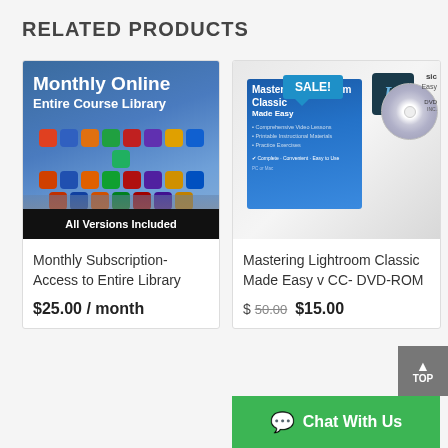RELATED PRODUCTS
[Figure (photo): Monthly Online Entire Course Library promotional image showing app icons on a tablet with text: Monthly Online, Entire Course Library, All Versions Included]
Monthly Subscription- Access to Entire Library
$25.00 / month
[Figure (photo): Mastering Lightroom Classic Made Easy v CC DVD-ROM product image with SALE badge, showing Lightroom Classic box and DVD disc]
Mastering Lightroom Classic Made Easy v CC- DVD-ROM
$ 50.00   $15.00